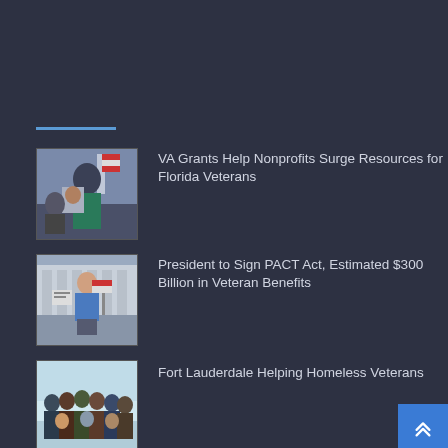[Figure (photo): Photo of a person holding a portrait photo indoors with an American flag in the background]
VA Grants Help Nonprofits Surge Resources for Florida Veterans
[Figure (photo): Photo of a man holding a sign at an outdoor protest near a government building]
President to Sign PACT Act, Estimated $300 Billion in Veteran Benefits
[Figure (photo): Group photo of people in a bright indoor setting]
Fort Lauderdale Helping Homeless Veterans